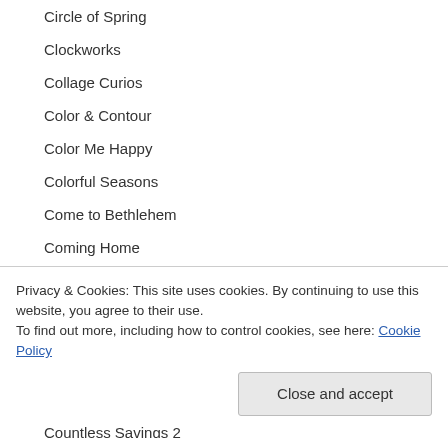Circle of Spring
Clockworks
Collage Curios
Color & Contour
Color Me Happy
Colorful Seasons
Come to Bethlehem
Coming Home
Confetti Celebration
Privacy & Cookies: This site uses cookies. By continuing to use this website, you agree to their use. To find out more, including how to control cookies, see here: Cookie Policy
Countless Savings 2